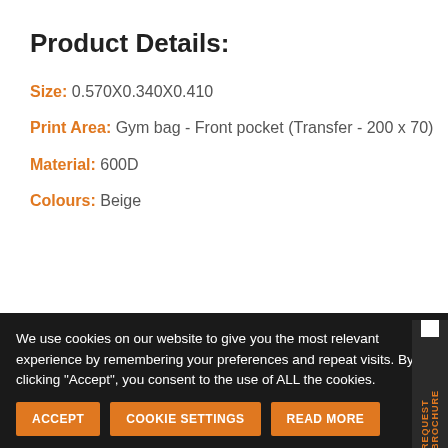Product Details:
Size: 0.570X0.340X0.410
Print Area: Gym bag - Front pocket (Transfer - 200 x 70)
Material: 600D
Colours: Beige
Color — Choose an option
We use cookies on our website to give you the most relevant experience by remembering your preferences and repeat visits. By clicking "Accept", you consent to the use of ALL the cookies.
ACCEPT | COOKIE SETTINGS | READ MORE